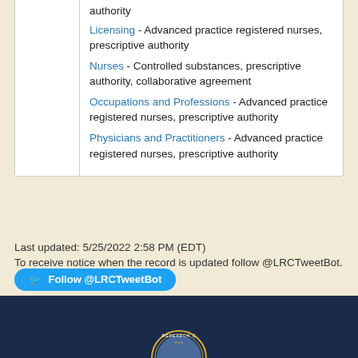Licensing - Advanced practice registered nurses, prescriptive authority
Nurses - Controlled substances, prescriptive authority, collaborative agreement
Occupations and Professions - Advanced practice registered nurses, prescriptive authority
Physicians and Practitioners - Advanced practice registered nurses, prescriptive authority
Last updated: 5/25/2022 2:58 PM (EDT)
To receive notice when the record is updated follow @LRCTweetBot.
[Figure (logo): Legislative Research Commission seal/logo at bottom of page on dark navy bar]